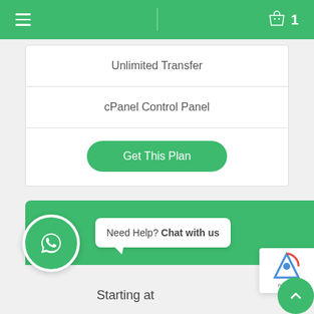Navigation bar with hamburger menu and cart (1 item)
| Unlimited Transfer |
| cPanel Control Panel |
| Get This Plan |
[Figure (screenshot): WhatsApp chat widget with green background showing 'Need Help? Chat with us' message bubble]
Starting at